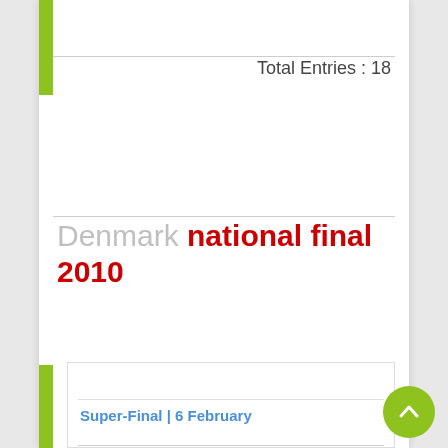Total Entries : 18
Denmark national final 2010
Super-Final | 6 February
| Startposition | 1 |
| --- | --- |
| Artiste | Pene St... |